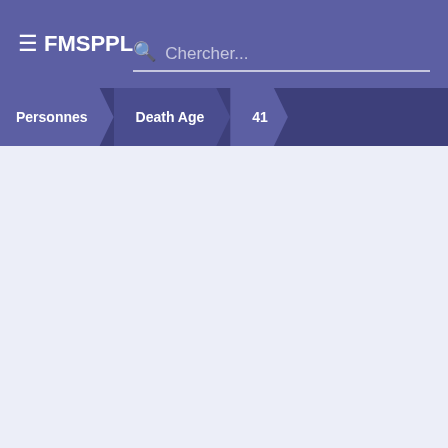FMSPPL  Chercher...
Personnes  Death Age  41